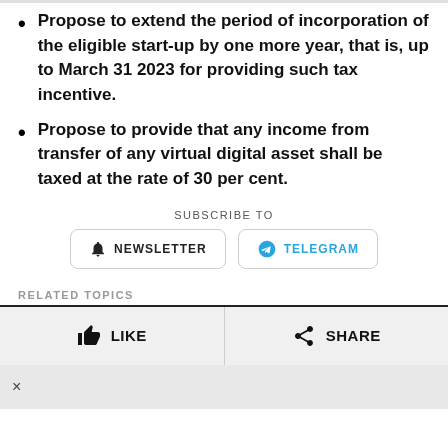Propose to extend the period of incorporation of the eligible start-up by one more year, that is, up to March 31 2023 for providing such tax incentive.
Propose to provide that any income from transfer of any virtual digital asset shall be taxed at the rate of 30 per cent.
SUBSCRIBE TO
NEWSLETTER  TELEGRAM
RELATED TOPICS
LIKE  SHARE
×